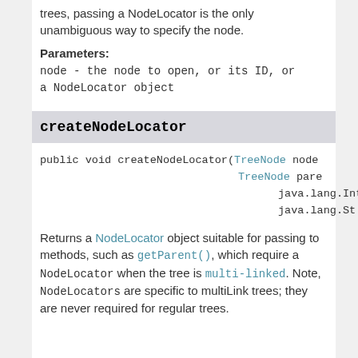trees, passing a NodeLocator is the only unambiguous way to specify the node.
Parameters:
node - the node to open, or its ID, or a NodeLocator object
createNodeLocator
public void createNodeLocator(TreeNode node, TreeNode pare, java.lang.Int, java.lang.St
Returns a NodeLocator object suitable for passing to methods, such as getParent(), which require a NodeLocator when the tree is multi-linked. Note, NodeLocators are specific to multiLink trees; they are never required for regular trees.